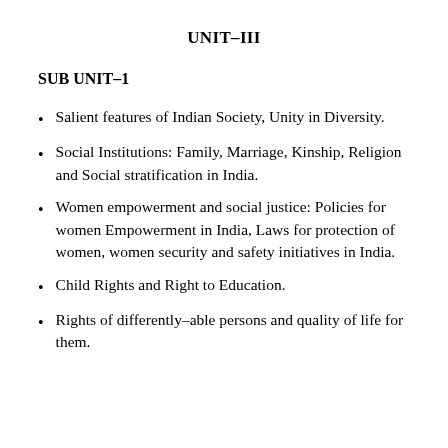UNIT–III
SUB UNIT–1
Salient features of Indian Society, Unity in Diversity.
Social Institutions: Family, Marriage, Kinship, Religion and Social stratification in India.
Women empowerment and social justice: Policies for women Empowerment in India, Laws for protection of women, women security and safety initiatives in India.
Child Rights and Right to Education.
Rights of differently–able persons and quality of life for them.